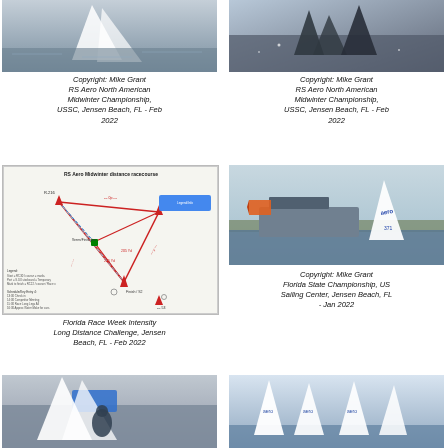[Figure (photo): Sailing boat on water, close-up action shot, top portion cropped]
[Figure (photo): Sailing boats on shimmering water, silhouette/backlit, top portion cropped]
Copyright: Mike Grant RS Aero North American Midwinter Championship, USSC, Jensen Beach, FL - Feb 2022
Copyright: Mike Grant RS Aero North American Midwinter Championship, USSC, Jensen Beach, FL - Feb 2022
[Figure (map): RS Aero Midwinter distance racecourse diagram showing triangular race course with red and blue lines, markers labeled, legend and schedule text]
[Figure (photo): Sailboat with orange flag and motor vessel in background on water]
Copyright: Mike Grant Florida State Championship, US Sailing Center, Jensen Beach, FL - Jan 2022
Florida Race Week Intensity Long Distance Challenge, Jensen Beach, FL - Feb 2022
[Figure (photo): Sailors on sailboat deck, close-up action shot, bottom portion of page]
[Figure (photo): Multiple RS Aero sailboats racing, white sails with numbers visible]